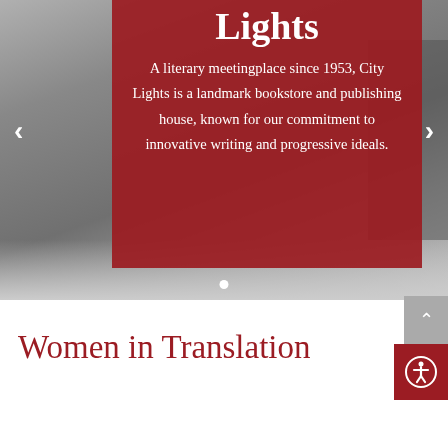[Figure (screenshot): A website hero/banner section showing a grayscale street photo of City Lights bookstore. A dark red/crimson semi-transparent overlay contains the title 'Lights' (partial, bold serif) and descriptive text. Navigation arrows appear on left and right sides. A white dot carousel indicator is visible at the bottom of the image.]
Lights
A literary meetingplace since 1953, City Lights is a landmark bookstore and publishing house, known for our commitment to innovative writing and progressive ideals.
Women in Translation